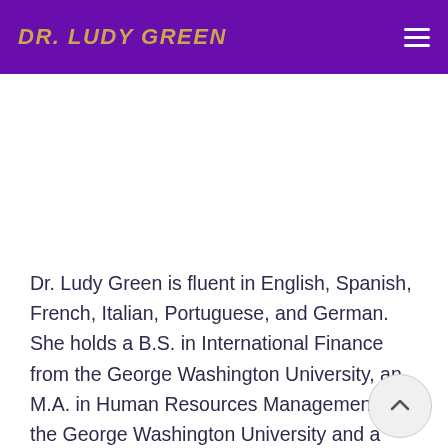DR. LUDY GREEN
Dr. Ludy Green is fluent in English, Spanish, French, Italian, Portuguese, and German. She holds a B.S. in International Finance from the George Washington University, an M.A. in Human Resources Management at the George Washington University and a Ph.D. in Business Administration from Southern California University. She graduated from the Leadership Washington program, and the Finance for Senior